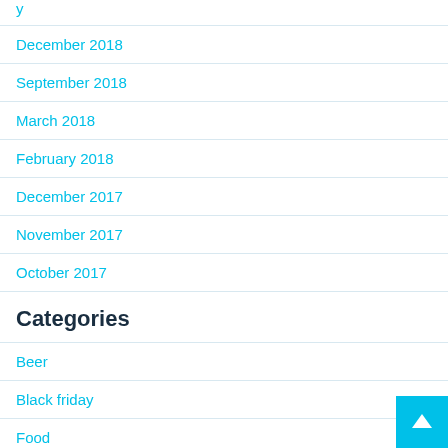y
December 2018
September 2018
March 2018
February 2018
December 2017
November 2017
October 2017
Categories
Beer
Black friday
Food